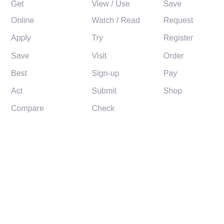Get / View / Use / Save (partial, top row)
Online / Watch / Read / Request
Apply / Try / Register
Save / Visit / Order
Best / Sign-up / Pay
Act / Submit / Shop
Compare / Check